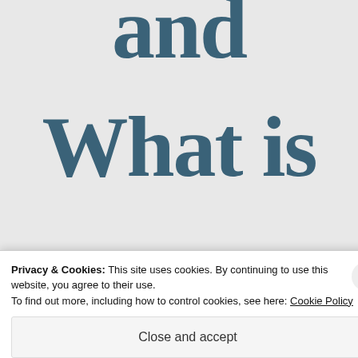and
What is
and isn't
Privacy & Cookies: This site uses cookies. By continuing to use this website, you agree to their use.
To find out more, including how to control cookies, see here: Cookie Policy
Close and accept